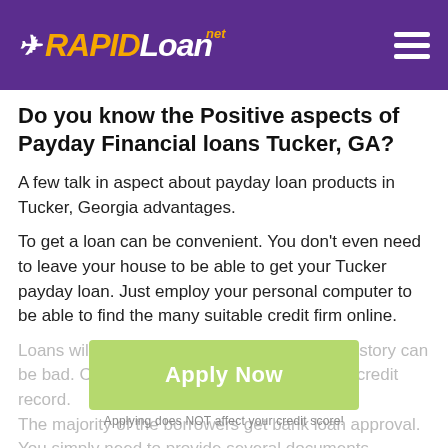RAPIDLoan.net
Do you know the Positive aspects of Payday Financial loans Tucker, GA?
A few talk in aspect about payday loan products in Tucker, Georgia advantages.
To get a loan can be convenient. You don't even need to leave your house to be able to get your Tucker payday loan. Just employ your personal computer to be able to find the many suitable credit firm online.
Loans will be issued even when your credit history can be bad. Credit firms don't check your current credit record.
[Figure (other): Apply Now button with text 'Apply Now' in light green background and subtitle 'Applying does NOT affect your credit score!']
The majority of the borrowers get bank loan approval. You simply need to provide several documents confirming the age, residence, together with solvency to